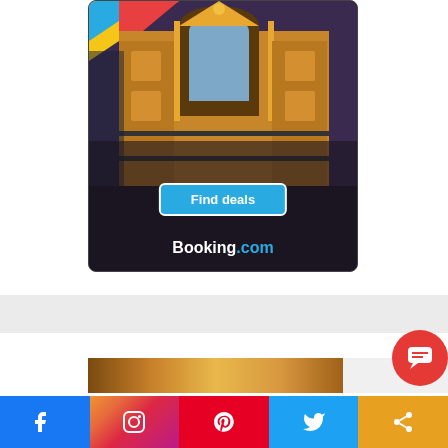[Figure (photo): Booking.com advertisement showing ornate building with colorful domes, a 'Find deals' button, and Booking.com logo on dark background]
[Figure (photo): Partial image strip at bottom showing a warm-toned landscape or scene]
[Figure (infographic): Social media sharing bar with Facebook, Instagram, Pinterest, Twitter, and Share icons]
[Figure (infographic): Red circular chat/comment button in lower right]